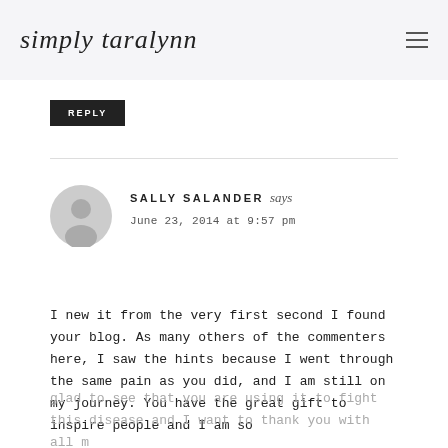simply taralynn
REPLY
SALLY SALANDER says
June 23, 2014 at 9:57 pm
I new it from the very first second I found your blog. As many others of the commenters here, I saw the hints because I went through the same pain as you did, and I am still on my journey. You have the great gift to inspire people and I am so glad to see that you are using it to fight this disease and I want to thank you with all m